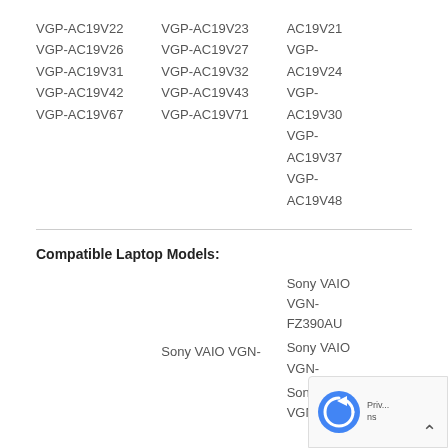VGP-AC19V22
VGP-AC19V26
VGP-AC19V31
VGP-AC19V42
VGP-AC19V67
VGP-AC19V23
VGP-AC19V27
VGP-AC19V32
VGP-AC19V43
VGP-AC19V71
AC19V21
VGP-AC19V24
VGP-AC19V30
VGP-AC19V37
VGP-AC19V48
Compatible Laptop Models:
Sony VAIO VGN-FZ390AU
Sony VAIO VGN-
Sony VAIO VGN-FZ270B
Sony VAIO VGN-